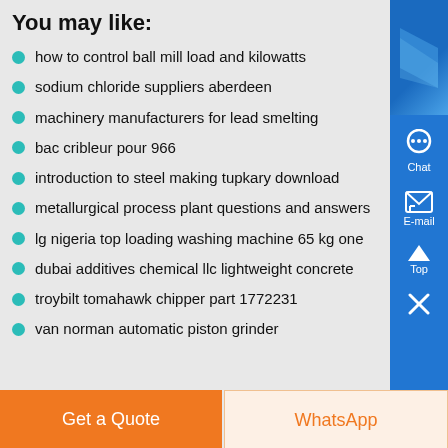You may like:
how to control ball mill load and kilowatts
sodium chloride suppliers aberdeen
machinery manufacturers for lead smelting
bac cribleur pour 966
introduction to steel making tupkary download
metallurgical process plant questions and answers
lg nigeria top loading washing machine 65 kg one
dubai additives chemical llc lightweight concrete
troybilt tomahawk chipper part 1772231
van norman automatic piston grinder
Get a Quote
WhatsApp